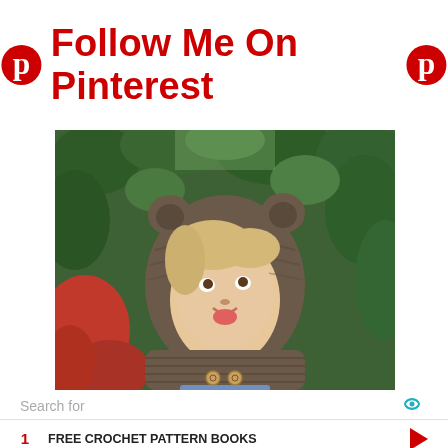Follow Me On Pinterest
[Figure (photo): A young child wearing a hand-crocheted brown bear-ear hooded cowl with wooden buttons, standing outdoors in front of green and red foliage.]
Search for
1   FREE CROCHET PATTERN BOOKS
2   COWL SCARF PATTERNS